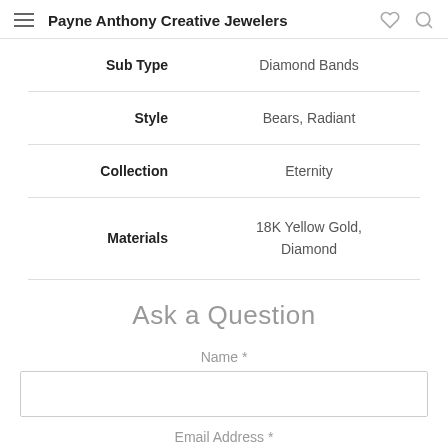Payne Anthony Creative Jewelers
| Attribute | Value |
| --- | --- |
| Sub Type | Diamond Bands |
| Style | Bears, Radiant |
| Collection | Eternity |
| Materials | 18K Yellow Gold, Diamond |
Ask a Question
Name *
Email Address *